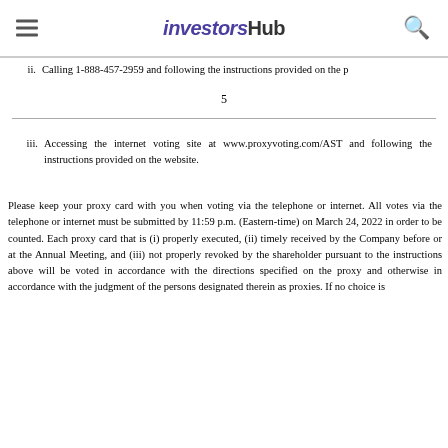investorsHub
ii. Calling 1-888-457-2959 and following the instructions provided on the p
5
iii. Accessing the internet voting site at www.proxyvoting.com/AST and following the instructions provided on the website.
Please keep your proxy card with you when voting via the telephone or internet. All votes via the telephone or internet must be submitted by 11:59 p.m. (Eastern-time) on March 24, 2022 in order to be counted. Each proxy card that is (i) properly executed, (ii) timely received by the Company before or at the Annual Meeting, and (iii) not properly revoked by the shareholder pursuant to the instructions above will be voted in accordance with the directions specified on the proxy and otherwise in accordance with the judgment of the persons designated therein as proxies. If no choice is